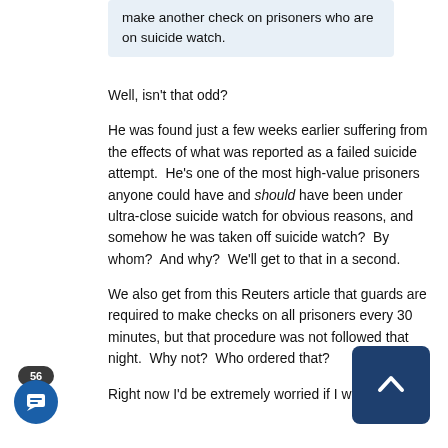make another check on prisoners who are on suicide watch.
Well, isn't that odd?
He was found just a few weeks earlier suffering from the effects of what was reported as a failed suicide attempt.  He's one of the most high-value prisoners anyone could have and should have been under ultra-close suicide watch for obvious reasons, and somehow he was taken off suicide watch?  By whom?  And why?  We'll get to that in a second.
We also get from this Reuters article that guards are required to make checks on all prisoners every 30 minutes, but that procedure was not followed that night.  Why not?  Who ordered that?
Right now I'd be extremely worried if I was